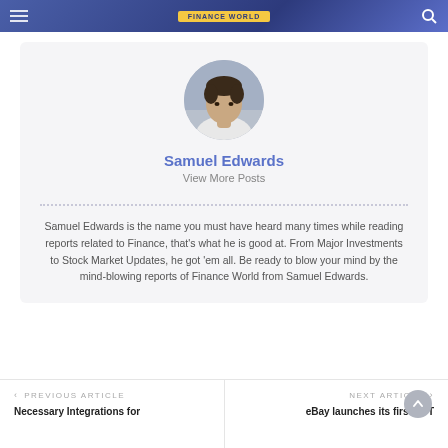FINANCE WORLD
[Figure (photo): Circular profile photo of Samuel Edwards, a man in a white shirt.]
Samuel Edwards
View More Posts
Samuel Edwards is the name you must have heard many times while reading reports related to Finance, that's what he is good at. From Major Investments to Stock Market Updates, he got 'em all. Be ready to blow your mind by the mind-blowing reports of Finance World from Samuel Edwards.
< PREVIOUS ARTICLE
Necessary Integrations for
NEXT ARTICLE >
eBay launches its first NFT